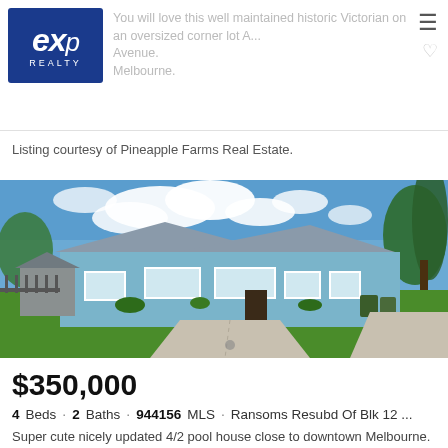eXp Realty — You will love this well maintained historic Victorian on an oversized corner lot A... Avenue. Melbourne.
Listing courtesy of Pineapple Farms Real Estate.
[Figure (photo): Exterior photo of a single-story blue house with white trim, large front lawn, concrete driveway, cloudy blue sky, tropical trees on right side.]
$350,000
4 Beds · 2 Baths · 944156 MLS · Ransoms Resubd Of Blk 12 ...
Super cute nicely updated 4/2 pool house close to downtown Melbourne. Dini